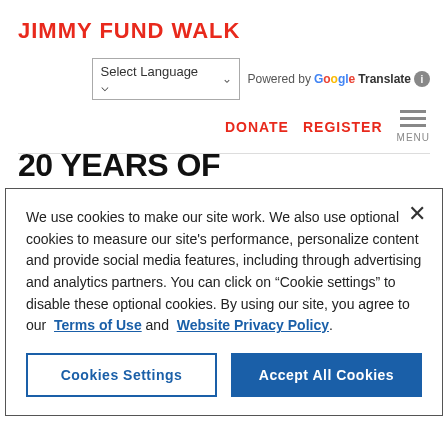JIMMY FUND WALK
[Figure (screenshot): Language selector dropdown showing 'Select Language' with up/down arrows, followed by 'Powered by Google Translate' with info icon]
DONATE   REGISTER   MENU
20 YEARS OF FUNDRAISING WITH THE JIMMY FUND WALK TO DEFY
We use cookies to make our site work. We also use optional cookies to measure our site's performance, personalize content and provide social media features, including through advertising and analytics partners. You can click on "Cookie settings" to disable these optional cookies. By using our site, you agree to our Terms of Use and Website Privacy Policy.
Cookies Settings   Accept All Cookies